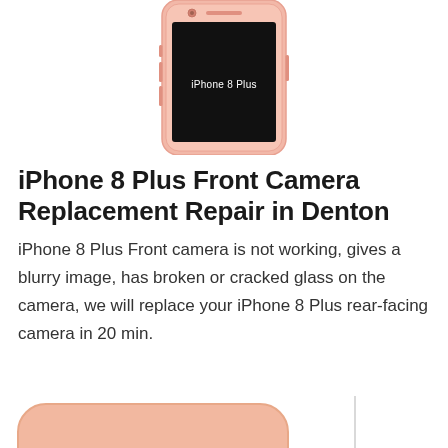[Figure (illustration): iPhone 8 Plus smartphone illustration showing a rose gold device with a black screen displaying 'iPhone 8 Plus' text, shown from the front, partially cropped at the top]
iPhone 8 Plus Front Camera Replacement Repair in Denton
iPhone 8 Plus Front camera is not working, gives a blurry image, has broken or cracked glass on the camera, we will replace your iPhone 8 Plus rear-facing camera in 20 min.
[Figure (illustration): Partial view of iPhone 8 Plus in rose gold color, cropped at bottom of page, showing top portion of device]